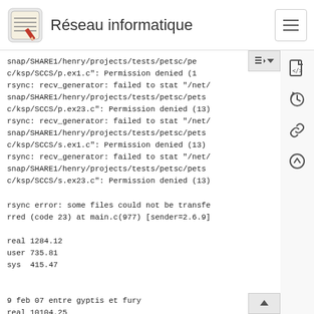Réseau informatique
snap/SHARE1/henry/projects/tests/petsc/pe
c/ksp/SCCS/p.ex1.c": Permission denied (1
rsync: recv_generator: failed to stat "/net/
snap/SHARE1/henry/projects/tests/petsc/pets
c/ksp/SCCS/p.ex23.c": Permission denied (13)
rsync: recv_generator: failed to stat "/net/
snap/SHARE1/henry/projects/tests/petsc/pets
c/ksp/SCCS/s.ex1.c": Permission denied (13)
rsync: recv_generator: failed to stat "/net/
snap/SHARE1/henry/projects/tests/petsc/pets
c/ksp/SCCS/s.ex23.c": Permission denied (13)

rsync error: some files could not be transfe
rred (code 23) at main.c(977) [sender=2.6.9]

real 1284.12
user 735.81
sys  415.47


9 feb 07 entre gyptis et fury
real 10104.25